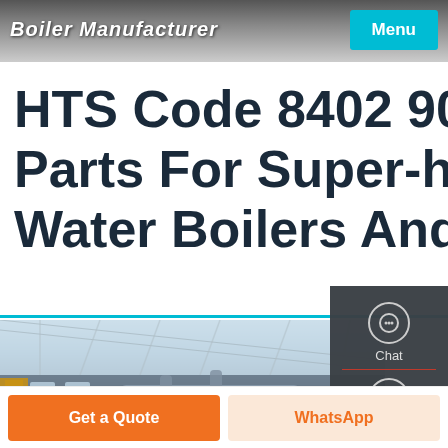Boiler Manufacturer — Menu
HTS Code 8402 90 Parts For Super-heated Water Boilers And
[Figure (photo): Industrial boiler facility interior showing large pipes, structural steel roof trusses, scaffolding and industrial equipment inside a large warehouse]
Chat
Email
Contact
Get a Quote
WhatsApp